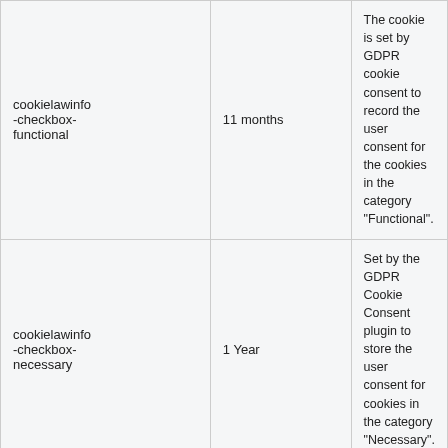| cookielawinfo-checkbox-functional | 11 months | The cookie is set by GDPR cookie consent to record the user consent for the cookies in the category "Functional". |
| cookielawinfo-checkbox-necessary | 1 Year | Set by the GDPR Cookie Consent plugin to store the user consent for cookies in the category "Necessary". |
| cookielawinfo-checkbox-others | 11 months | This cookie is set by GDPR Cookie Consent plugin. The cookie is used to store the user consent for the cookies in the category "Other... |
We use cookies on our website to ensure the functionality of the website and with your consent to improve and personalize content and ads , providing social media and other networking features and traffic analysis. By clicking on the "Accept all" button, you agree to the use of all cookies. You can always change your preferences via "Settings".